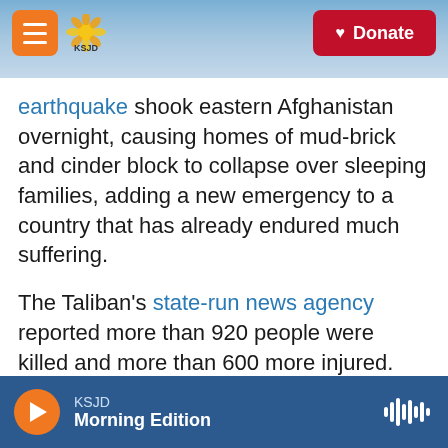KSJD | Donate
earthquake shook eastern Afghanistan overnight, causing homes of mud-brick and cinder block to collapse over sleeping families, adding a new emergency to a country that has already endured much suffering.
The Taliban's state-run news agency reported more than 920 people were killed and more than 600 more injured. They cited the deputy state minister for natural disaster management, Mawlavi Sharfuddin Muslim. It was not possible to immediately confirm that number, because the earthquake hit remote areas.
KSJD | Morning Edition